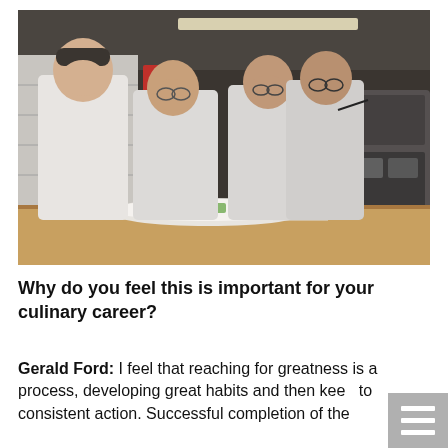[Figure (photo): Four men in white lab coats standing around a wooden table examining a plate of food in what appears to be a food science laboratory or culinary testing facility.]
Why do you feel this is important for your culinary career?
Gerald Ford: I feel that reaching for greatness is a process, developing great habits and then keep to consistent action. Successful completion of the